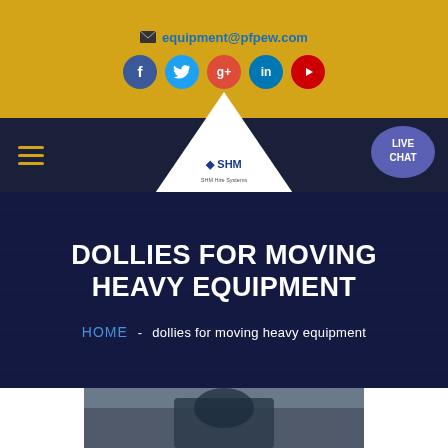equipment@pfpew.com
[Figure (screenshot): Social media icon buttons: Facebook (blue), Twitter (light blue), Google+ (red), LinkedIn (dark blue), YouTube (red)]
[Figure (logo): SHM company logo inside a white triangular shape on dark navy navigation bar]
[Figure (infographic): Live Chat bubble in purple on the right side of the navigation bar]
DOLLIES FOR MOVING HEAVY EQUIPMENT
HOME  -  dollies for moving heavy equipment
[Figure (photo): Warehouse interior with steel truss ceiling, bright overhead lights, industrial space with heavy equipment]